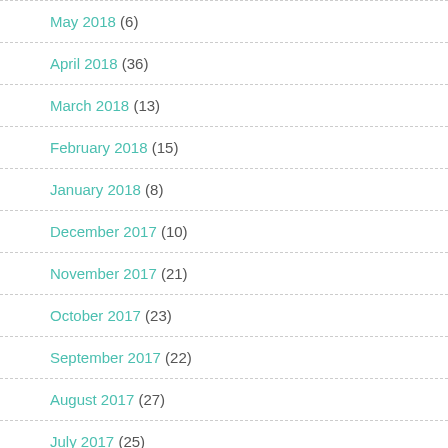May 2018 (6)
April 2018 (36)
March 2018 (13)
February 2018 (15)
January 2018 (8)
December 2017 (10)
November 2017 (21)
October 2017 (23)
September 2017 (22)
August 2017 (27)
July 2017 (25)
June 2017 (13)